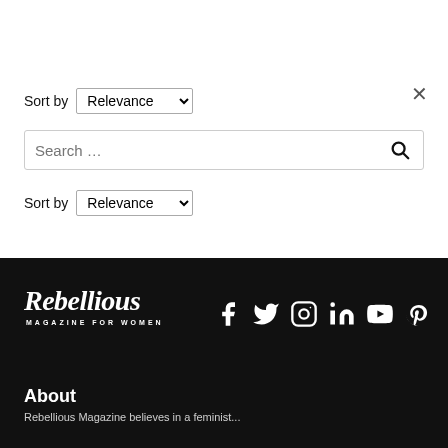Sort by Relevance
Search ...
Sort by Relevance
[Figure (logo): Rebellious Magazine for Women logo in white on black background]
[Figure (infographic): Social media icons: Facebook, Twitter, Instagram, LinkedIn, YouTube, Pinterest]
About
Rebellious Magazine believes in a feminist...